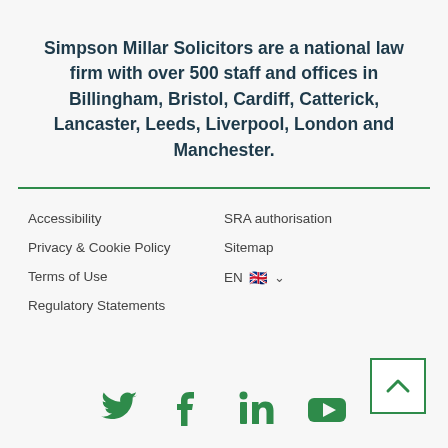Simpson Millar Solicitors are a national law firm with over 500 staff and offices in Billingham, Bristol, Cardiff, Catterick, Lancaster, Leeds, Liverpool, London and Manchester.
Accessibility
Privacy & Cookie Policy
Terms of Use
Regulatory Statements
SRA authorisation
Sitemap
EN 🇬🇧 ∨
[Figure (infographic): Social media icons: Twitter, Facebook, LinkedIn, YouTube in green, plus a back-to-top arrow button in green border]